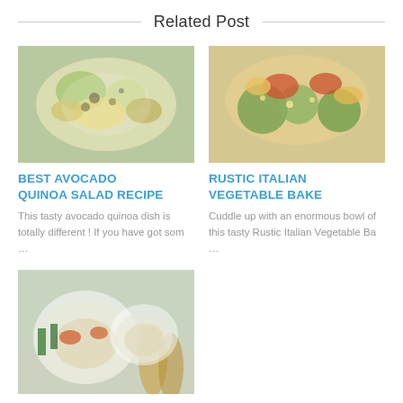Related Post
[Figure (photo): Close-up of avocado quinoa salad with seeds and greens in a white bowl]
BEST AVOCADO QUINOA SALAD RECIPE
This tasty avocado quinoa dish is totally different ! If you have got som …
[Figure (photo): Close-up of rustic Italian vegetable bake with zucchini, tomatoes, beans and herbs]
RUSTIC ITALIAN VEGETABLE BAKE
Cuddle up with an enormous bowl of this tasty Rustic Italian Vegetable Ba …
[Figure (photo): Thai green curry bowls with rice, vegetables, and golden spoons on a white cloth]
THAI GREEN CURRY